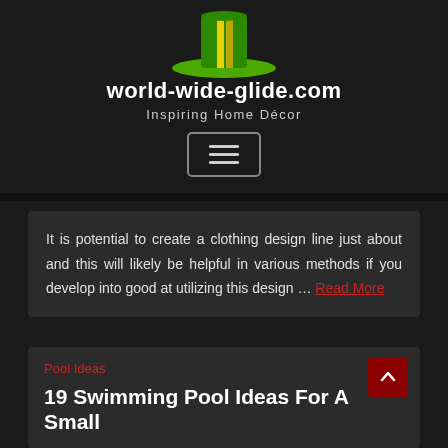[Figure (logo): Green and yellow stylized logo for world-wide-glide.com website]
world-wide-glide.com
Inspiring Home Décor
[Figure (other): Hamburger menu button with three horizontal lines inside a rounded rectangle border]
It is potential to create a clothing design line just about and this will likely be helpful in various methods if you develop into good at utilizing this design ... Read More
Pool Ideas
19 Swimming Pool Ideas For A Small